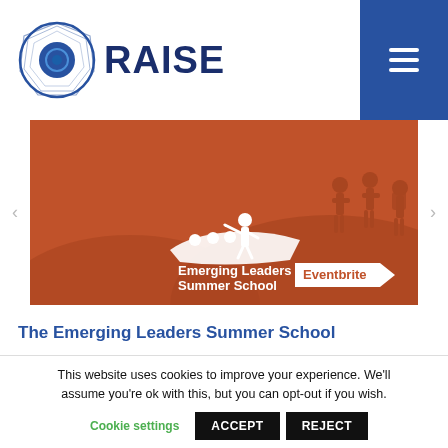[Figure (logo): ORAISE logo with blue geometric circle and blue bold text RAISE]
[Figure (illustration): Emerging Leaders Summer School banner: orange background with silhouettes of people on a hillside and a person standing on a boat with others seated. White text reads 'Emerging Leaders Summer School'. An arrow-shaped badge reads 'Eventbrite' in orange on white.]
The Emerging Leaders Summer School
This website uses cookies to improve your experience. We'll assume you're ok with this, but you can opt-out if you wish.
Cookie settings  ACCEPT  REJECT